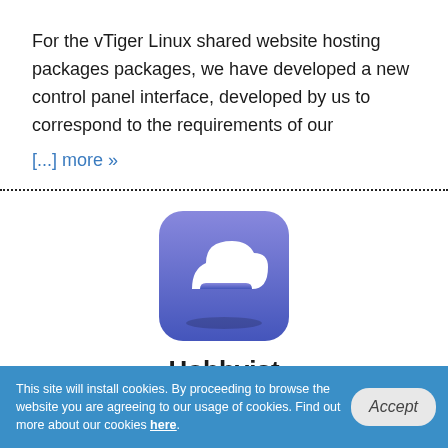For the vTiger Linux shared website hosting packages packages, we have developed a new control panel interface, developed by us to correspond to the requirements of our [...] more »
[Figure (illustration): Cloud icon on a rounded square with a blue/purple gradient background]
Hobbyist
Shared Hosting
$6.25
This site will install cookies. By proceeding to browse the website you are agreeing to our usage of cookies. Find out more about our cookies here.